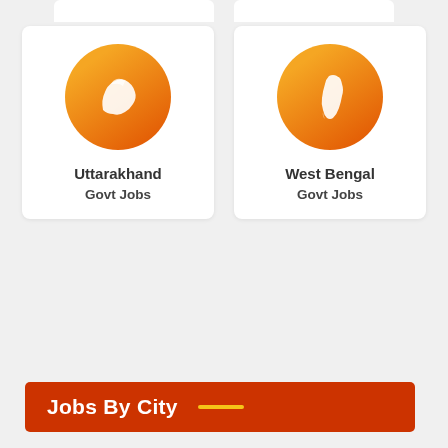[Figure (illustration): Uttarakhand state silhouette in white on orange circle]
Uttarakhand
Govt Jobs
[Figure (illustration): West Bengal state silhouette in white on orange circle]
West Bengal
Govt Jobs
Jobs By City
Ahmedabad Jobs
Bangalore Jobs
Bhopal Jobs
Bhubaneswar Jobs
Chennai Jobs
[Figure (illustration): Green WhatsApp Join Our Group button with WhatsApp icon]